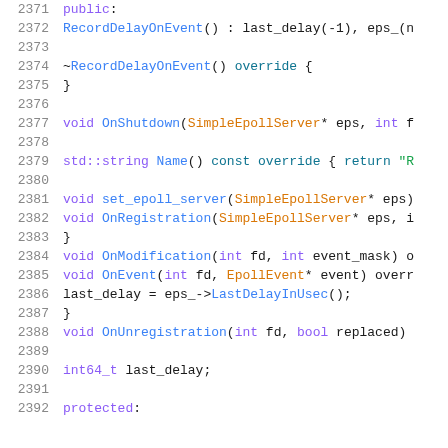Code snippet showing C++ class methods, lines 2371-2392, including RecordDelayOnEvent constructor, destructor, OnShutdown, Name, set_epoll_server, OnRegistration, OnModification, OnEvent, OnUnregistration, last_delay member, and protected section.